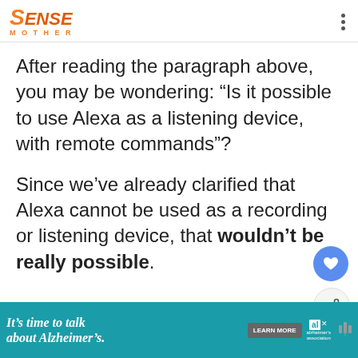SENSE MOTHER
After reading the paragraph above, you may be wondering: “Is it possible to use Alexa as a listening device, with remote commands”?
Since we’ve already clarified that Alexa cannot be used as a recording or listening device, that wouldn’t be really possible.
[Figure (screenshot): Advertisement banner: It's time to talk about Alzheimer's. with Learn More button and Alzheimer's Association logo.]